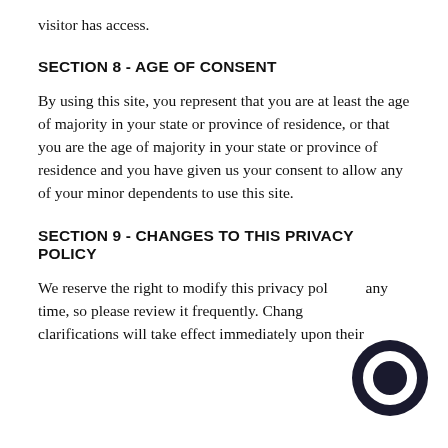visitor has access.
SECTION 8 - AGE OF CONSENT
By using this site, you represent that you are at least the age of majority in your state or province of residence, or that you are the age of majority in your state or province of residence and you have given us your consent to allow any of your minor dependents to use this site.
SECTION 9 - CHANGES TO THIS PRIVACY POLICY
We reserve the right to modify this privacy policy at any time, so please review it frequently. Changes and clarifications will take effect immediately upon their posting on the website. If we make material changes to